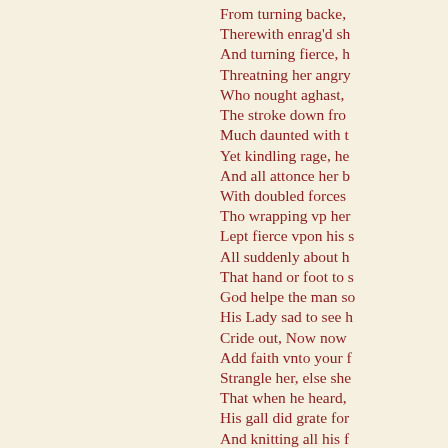From turning backe,
Therewith enrag'd sh
And turning fierce, h
Threatning her angry
Who nought aghast,
The stroke down fro
Much daunted with t
Yet kindling rage, he
And all attonce her b
With doubled forces
Tho wrapping vp her
Lept fierce vpon his s
All suddenly about h
That hand or foot to s
God helpe the man so
His Lady sad to see h
Cride out, Now now
Add faith vnto your f
Strangle her, else she
That when he heard,
His gall did grate for
And knitting all his f
Wherewith he grypt h
That soone to loose